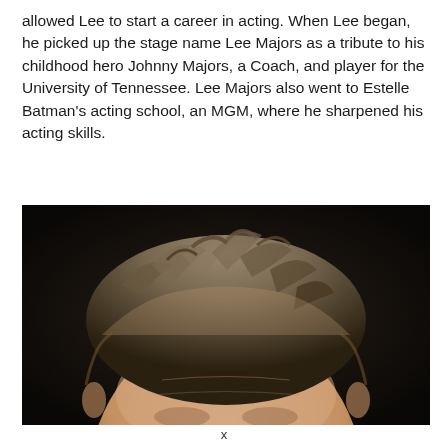allowed Lee to start a career in acting. When Lee began, he picked up the stage name Lee Majors as a tribute to his childhood hero Johnny Majors, a Coach, and player for the University of Tennessee. Lee Majors also went to Estelle Batman's acting school, an MGM, where he sharpened his acting skills.
[Figure (photo): Close-up photograph of a middle-aged man with short, slightly graying and tousled hair, photographed against a dark background. Only the top portion of his face and forehead are visible.]
x